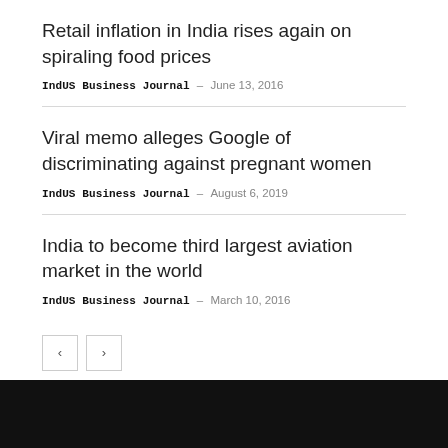Retail inflation in India rises again on spiraling food prices
IndUS Business Journal – June 13, 2016
Viral memo alleges Google of discriminating against pregnant women
IndUS Business Journal – August 6, 2019
India to become third largest aviation market in the world
IndUS Business Journal – March 10, 2016